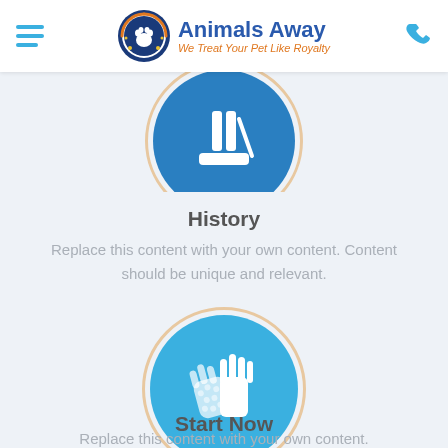Animals Away — We Treat Your Pet Like Royalty
[Figure (illustration): Blue circle icon with white vacuum/cleaning illustration, partially cropped at top]
History
Replace this content with your own content. Content should be unique and relevant.
[Figure (illustration): Light blue circle icon with white grooming gloves illustration]
Start Now
Replace this content with your own content.